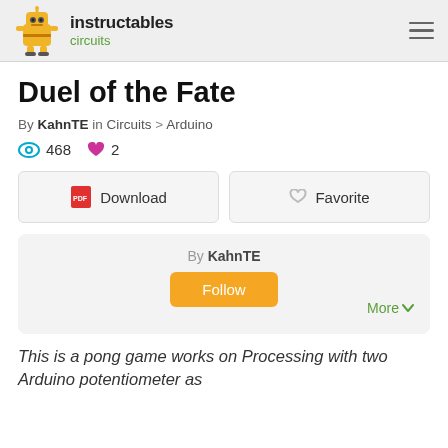instructables circuits
Duel of the Fate
By KahnTE in Circuits > Arduino
468 views  2 favorites
Download  Favorite
By KahnTE  Follow  More
This is a pong game works on Processing with two Arduino potentiometers